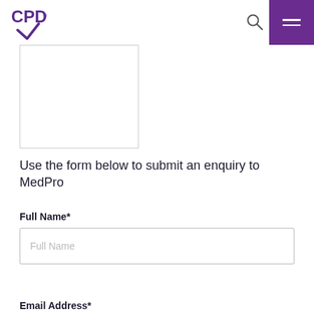CPD logo, search icon, menu button
[Figure (other): Empty white rectangle placeholder image with light grey border]
Use the form below to submit an enquiry to MedPro
Full Name*
Full Name (placeholder input field)
Email Address*